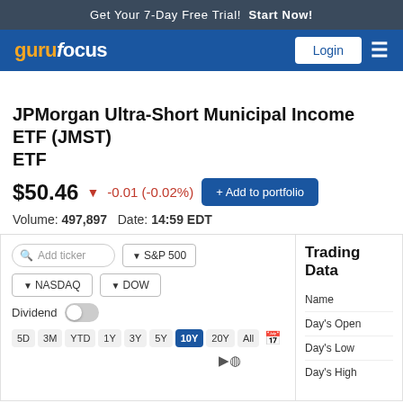Get Your 7-Day Free Trial!  Start Now!
[Figure (logo): gurufocus logo with Login button and hamburger menu on blue navigation bar]
JPMorgan Ultra-Short Municipal Income ETF (JMST) ETF
$50.46  -0.01 (-0.02%)  + Add to portfolio
Volume: 497,897   Date: 14:59 EDT
[Figure (screenshot): Chart controls area with Add ticker search box, S&P 500, NASDAQ, DOW index buttons, Dividend toggle, and time period buttons: 5D, 3M, YTD, 1Y, 3Y, 5Y, 10Y (active), 20Y, All, calendar icon, and refresh icon]
Trading Data
Name
Day's Open
Day's Low
Day's High